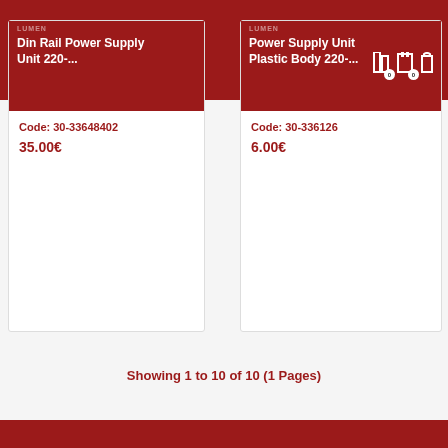LUMEN | Din Rail Power Supply Unit 220-...
LUMEN | Power Supply Unit Plastic Body 220-...
Code: 30-33648402
35.00€
Code: 30-336126
6.00€
Showing 1 to 10 of 10 (1 Pages)